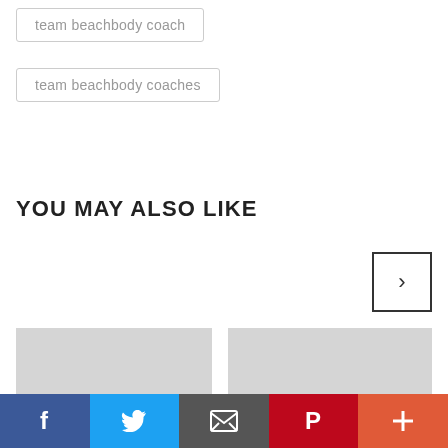team beachbody coach
team beachbody coaches
YOU MAY ALSO LIKE
[Figure (other): Navigation arrow button pointing right]
[Figure (other): Left image placeholder (gray rectangle)]
[Figure (other): Right image placeholder (gray rectangle)]
Facebook | Twitter | Email | Pinterest | More